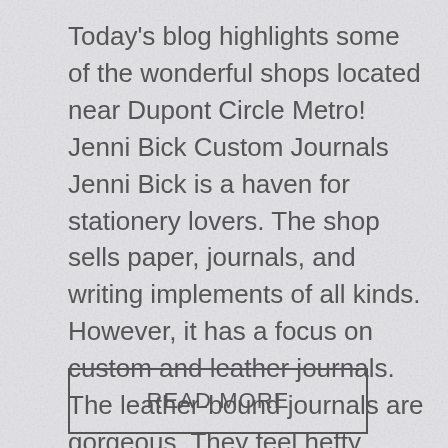Today's blog highlights some of the wonderful shops located near Dupont Circle Metro! Jenni Bick Custom Journals Jenni Bick is a haven for stationery lovers. The shop sells paper, journals, and writing implements of all kinds. However, it has a focus on custom and leather journals. The leather-bound journals are gorgeous. They feel hefty when ...
READ MORE
[Figure (other): Empty bordered rectangle at the bottom of the page, likely a placeholder for an image]